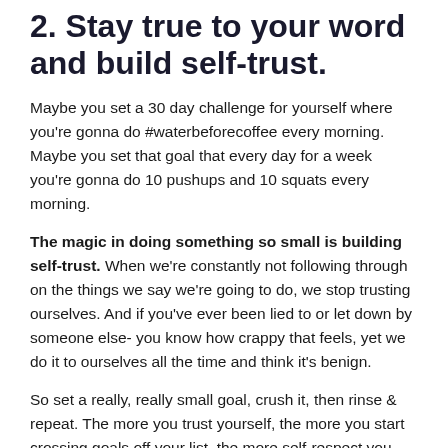2. Stay true to your word and build self-trust.
Maybe you set a 30 day challenge for yourself where you're gonna do #waterbeforecoffee every morning. Maybe you set that goal that every day for a week you're gonna do 10 pushups and 10 squats every morning.
The magic in doing something so small is building self-trust. When we're constantly not following through on the things we say we're going to do, we stop trusting ourselves. And if you've ever been lied to or let down by someone else- you know how crappy that feels, yet we do it to ourselves all the time and think it's benign.
So set a really, really small goal, crush it, then rinse & repeat. The more you trust yourself, the more you start crossing goals off your list, the more self-respect you have for yourself, the better you'll feel. Hands down.